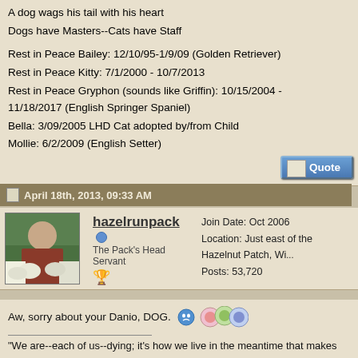A dog wags his tail with his heart
Dogs have Masters--Cats have Staff

Rest in Peace Bailey: 12/10/95-1/9/09 (Golden Retriever)
Rest in Peace Kitty: 7/1/2000 - 10/7/2013
Rest in Peace Gryphon (sounds like Griffin): 10/15/2004 - 11/18/2017 (English Springer Spaniel)
Bella: 3/09/2005 LHD Cat adopted by/from Child
Mollie: 6/2/2009 (English Setter)
April 18th, 2013, 09:33 AM
hazelrunpack
The Pack's Head Servant
Join Date: Oct 2006
Location: Just east of the Hazelnut Patch, Wi...
Posts: 53,720
Aw, sorry about your Danio, DOG.
"We are--each of us--dying; it's how we live in the meantime that makes the difference."
"It's not what you gather, but what you scatter that tells what kind of life you lived!"
"Be kinder than necessary, for everyone you meet is fighting some kind of b..."